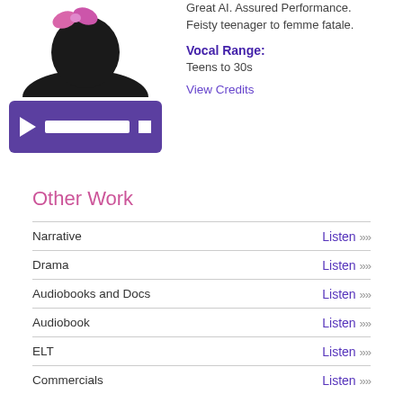[Figure (illustration): Silhouette of a person with pink/purple bow on head against white background]
[Figure (other): Purple audio player widget with play button, white progress bar, and stop button]
Great AI. Assured Performance. Feisty teenager to femme fatale.
Vocal Range:
Teens to 30s
View Credits
Other Work
Narrative — Listen »»
Drama — Listen »»
Audiobooks and Docs — Listen »»
Audiobook — Listen »»
ELT — Listen »»
Commercials — Listen »»